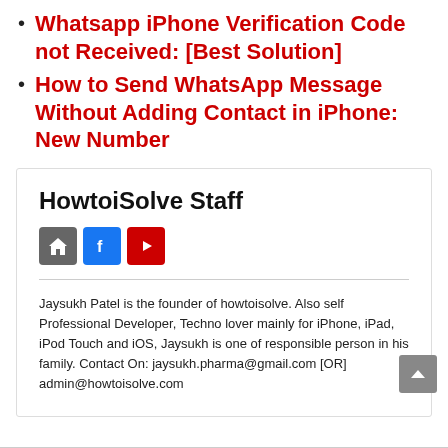Whatsapp iPhone Verification Code not Received: [Best Solution]
How to Send WhatsApp Message Without Adding Contact in iPhone: New Number
HowtoiSolve Staff
Jaysukh Patel is the founder of howtoisolve. Also self Professional Developer, Techno lover mainly for iPhone, iPad, iPod Touch and iOS, Jaysukh is one of responsible person in his family. Contact On: jaysukh.pharma@gmail.com [OR] admin@howtoisolve.com